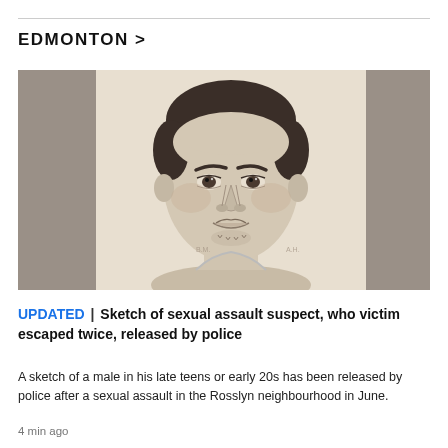EDMONTON >
[Figure (illustration): Police sketch of a male suspect in his late teens or early 20s, showing a front-facing pencil-drawn portrait with short dark hair, round face, and slight chin stubble. Gray background panels on either side of the central sketch.]
UPDATED | Sketch of sexual assault suspect, who victim escaped twice, released by police
A sketch of a male in his late teens or early 20s has been released by police after a sexual assault in the Rosslyn neighbourhood in June.
4 min ago